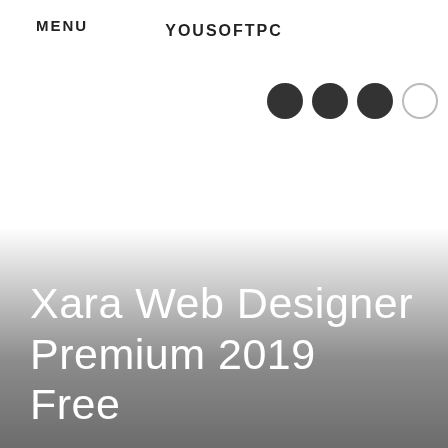YOUSOFTPC
MENU
[Figure (other): Three filled dark circles (navigation dots indicator) and one outlined circle to the right]
Xara Web Designer Premium 2019 Free